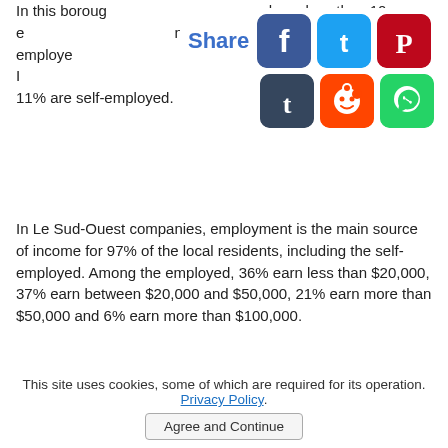In this borough … s have less than 10 e… n 10 to 100 employees … 0 employees. In … cal residents are employees and 11% are self-employed.
[Figure (infographic): Social media share overlay with Share label and icons for Facebook, Twitter, Pinterest, Tumblr, Reddit, WhatsApp]
In Le Sud-Ouest companies, employment is the main source of income for 97% of the local residents, including the self-employed. Among the employed, 36% earn less than $20,000, 37% earn between $20,000 and $50,000, 21% earn more than $50,000 and 6% earn more than $100,000.
[Figure (other): Advertisement box (empty white rectangle with border)]
This site uses cookies, some of which are required for its operation. Privacy Policy. Agree and Continue